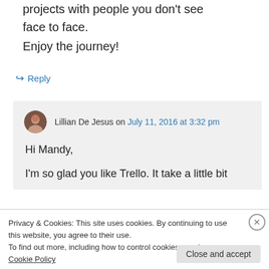storming with them. It's brilliant for working on projects with people you don't see face to face.
Enjoy the journey!
↳ Reply
Lillian De Jesus on July 11, 2016 at 3:32 pm
Hi Mandy,
I'm so glad you like Trello. It take a little bit
Privacy & Cookies: This site uses cookies. By continuing to use this website, you agree to their use.
To find out more, including how to control cookies, see here: Cookie Policy
Close and accept